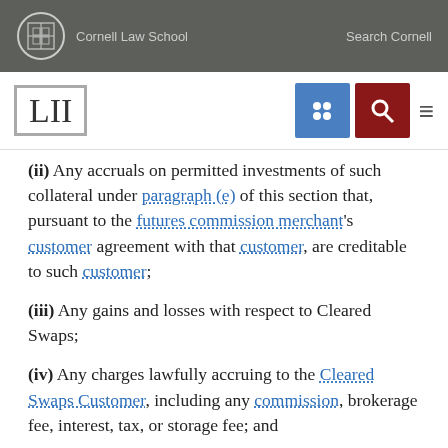Cornell Law School   Search Cornell
[Figure (logo): LII Legal Information Institute logo with navigation icons (grid and search) and hamburger menu]
(ii) Any accruals on permitted investments of such collateral under paragraph (e) of this section that, pursuant to the futures commission merchant's customer agreement with that customer, are creditable to such customer;
(iii) Any gains and losses with respect to Cleared Swaps;
(iv) Any charges lawfully accruing to the Cleared Swaps Customer, including any commission, brokerage fee, interest, tax, or storage fee; and